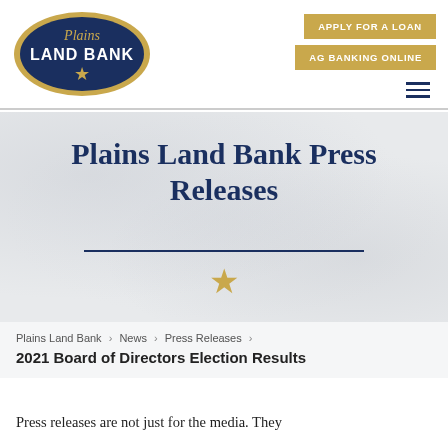[Figure (logo): Plains Land Bank logo — blue oval with gold border, white text 'Plains LAND BANK' and gold star]
APPLY FOR A LOAN
AG BANKING ONLINE
Plains Land Bank Press Releases
Plains Land Bank > News > Press Releases > 2021 Board of Directors Election Results
Press releases are not just for the media. They